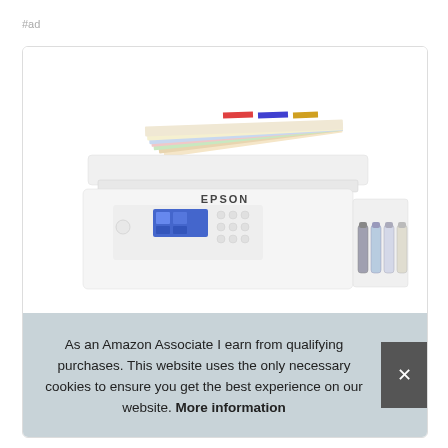#ad
[Figure (photo): Epson white inkjet printer with paper loaded in top feeder, ink tanks visible on right side, shown against white background inside a card element.]
As an Amazon Associate I earn from qualifying purchases. This website uses the only necessary cookies to ensure you get the best experience on our website. More information